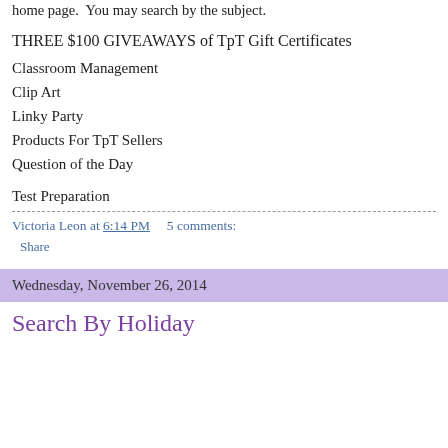Look at the Labels section located at the right hand column of the home page.  You may search by the subject.
THREE $100 GIVEAWAYS of TpT Gift Certificates
Classroom Management
Clip Art
Linky Party
Products For TpT Sellers
Question of the Day
Test Preparation
Victoria Leon at 6:14 PM    5 comments:
Share
Wednesday, November 26, 2014
Search By Holiday